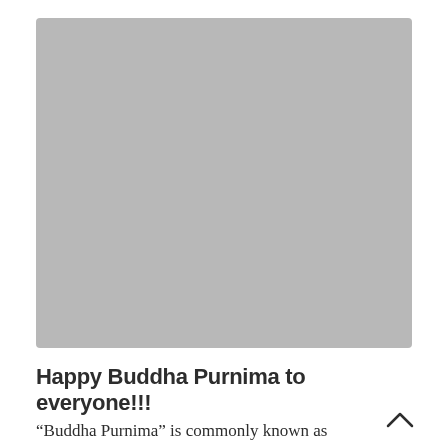[Figure (photo): A large gray placeholder image rectangle occupying the upper portion of the page.]
Happy Buddha Purnima to everyone!!!
“Buddha Purnima” is commonly known as